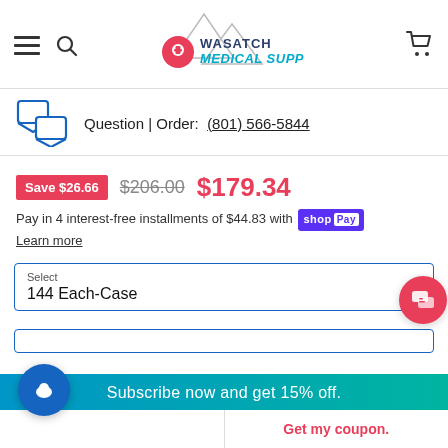[Figure (logo): Wasatch Medical Supply logo with mountain graphic and location pin with cross]
Question | Order: (801) 566-5844
Save $26.66  $206.00  $179.34
Pay in 4 interest-free installments of $44.83 with shop Pay
Learn more
Select
144 Each-Case
Subscribe now and get 15% off.
Get my coupon.